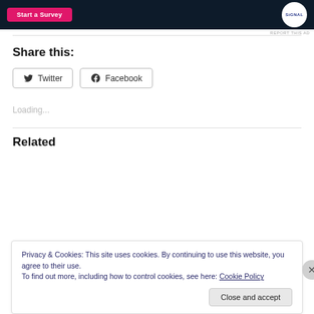[Figure (screenshot): Ad banner with dark navy background, a pink 'Start a Survey' button on the left, and a circular white Signal logo on the right.]
REPORT THIS AD
Share this:
Twitter  Facebook
Loading...
Related
Privacy & Cookies: This site uses cookies. By continuing to use this website, you agree to their use.
To find out more, including how to control cookies, see here: Cookie Policy
Close and accept